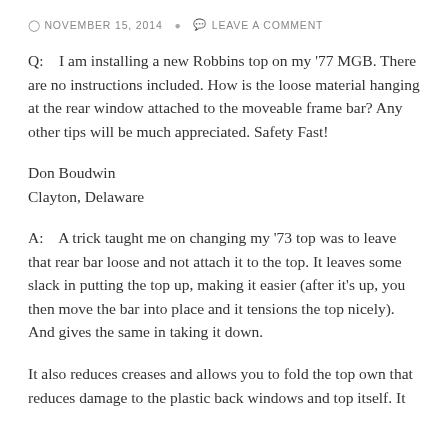NOVEMBER 15, 2014   LEAVE A COMMENT
Q:    I am installing a new Robbins top on my '77 MGB. There are no instructions included. How is the loose material hanging at the rear window attached to the moveable frame bar? Any other tips will be much appreciated. Safety Fast!
Don Boudwin
Clayton, Delaware
A:    A trick taught me on changing my '73 top was to leave that rear bar loose and not attach it to the top. It leaves some slack in putting the top up, making it easier (after it's up, you then move the bar into place and it tensions the top nicely). And gives the same in taking it down.
It also reduces creases and allows you to fold the top own that reduces damage to the plastic back windows and top itself. It